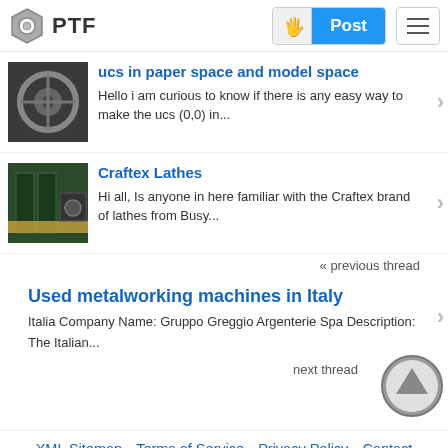PTF | Post
ucs in paper space and model space — Hello i am curious to know if there is any easy way to make the ucs (0,0) in...
Craftex Lathes — Hi all, Is anyone in here familiar with the Craftex brand of lathes from Busy...
« previous thread
Used metalworking machines in Italy — Italia Company Name: Gruppo Greggio Argenterie Spa Description: The Italian...
next thread
XML Sitemap  Terms of Service  Privacy Policy  Contact
PolyTech Forum website is not affiliated with any of the manufacturers or service providers discussed here. All logos and trade names are the